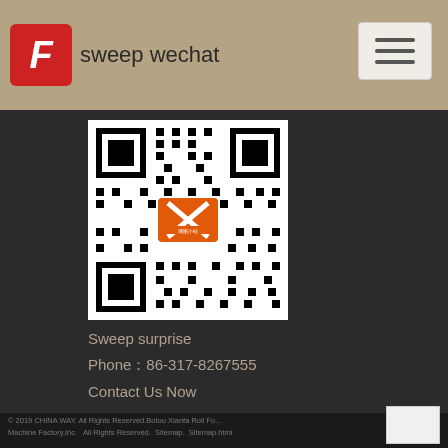sweep wechat
[Figure (other): QR code for WeChat with orange logo center]
Sweep surprise
Phone：86-317-8267555
Contact Us Now
© 2019 CHINA WAY. All Rights Reserved.Botou Xianfa Roll Forming Machine Factory,Inc.   All Rights Reserved.  Sitemap.  Sitemap.html